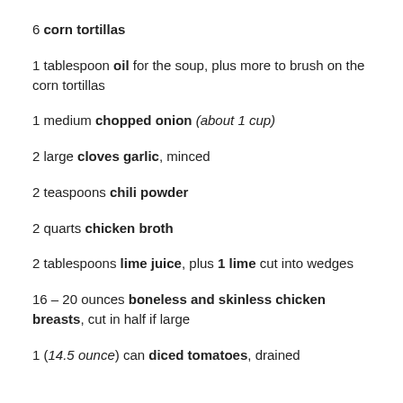6 corn tortillas
1 tablespoon oil for the soup, plus more to brush on the corn tortillas
1 medium chopped onion (about 1 cup)
2 large cloves garlic, minced
2 teaspoons chili powder
2 quarts chicken broth
2 tablespoons lime juice, plus 1 lime cut into wedges
16 – 20 ounces boneless and skinless chicken breasts, cut in half if large
1 (14.5 ounce) can diced tomatoes, drained